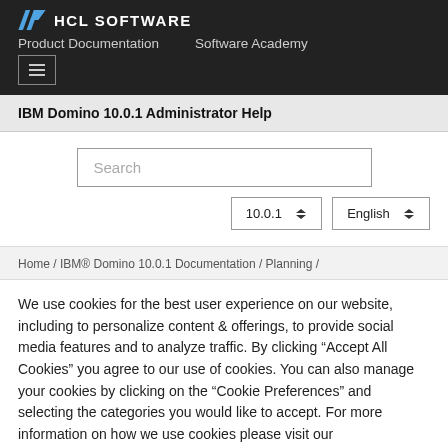HCL SOFTWARE
Product Documentation   Software Academy
IBM Domino 10.0.1 Administrator Help
Search
10.0.1   English
Home / IBM® Domino 10.0.1 Documentation / Planning /
We use cookies for the best user experience on our website, including to personalize content & offerings, to provide social media features and to analyze traffic. By clicking “Accept All Cookies” you agree to our use of cookies. You can also manage your cookies by clicking on the “Cookie Preferences” and selecting the categories you would like to accept. For more information on how we use cookies please visit our